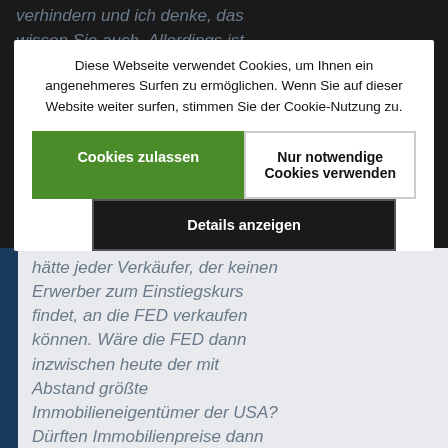[Figure (screenshot): Website cookie consent overlay dialog on top of a web article page. The overlay contains cookie usage notice text in German, two buttons ('Cookies zulassen' in green, 'Nur notwendige Cookies verwenden' in white), and a 'Details anzeigen' button. Background shows italic German article text on dark and light sections.]
Diese Webseite verwendet Cookies, um Ihnen ein angenehmeres Surfen zu ermöglichen. Wenn Sie auf dieser Website weiter surfen, stimmen Sie der Cookie-Nutzung zu.
Cookies zulassen
Nur notwendige Cookies verwenden
Details anzeigen
hätte jeder Verkäufer, der keinen Erwerber zum Einstiegskurs findet, an die FED verkaufen können. Wäre die FED dann inzwischen heute der mit Abstand größte Immobilieneigentümer der USA? Dürften Immobilienpreise dann jemals wieder sinken? Gibt die FED Ewigkeitsgarantieren auch in Abwanderungsregionen?
Letzteres Beispiel zeigt das